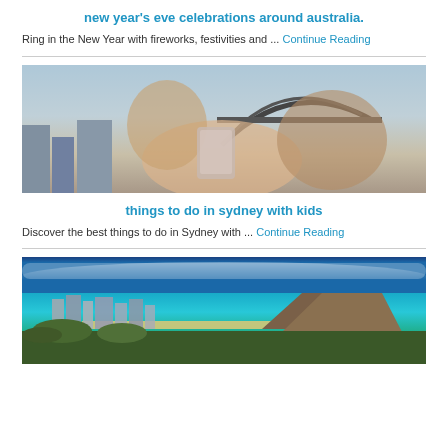new year's eve celebrations around australia.
Ring in the New Year with fireworks, festivities and ... Continue Reading
[Figure (photo): Family selfie with mother and two children in front of Sydney Harbour Bridge]
things to do in sydney with kids
Discover the best things to do in Sydney with ... Continue Reading
[Figure (photo): Aerial view of Honolulu Hawaii with Diamond Head crater and Waikiki beach]